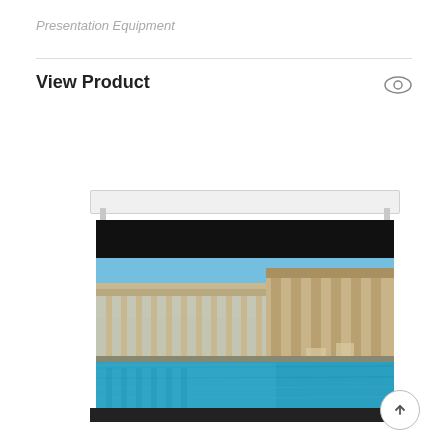Presentation Equipment
View Product
[Figure (photo): Electric motorized projector screen shown partially unrolled, displaying a photo of a classical poolside building with columns and blue water. The screen has a white housing bar at top and black masking borders.]